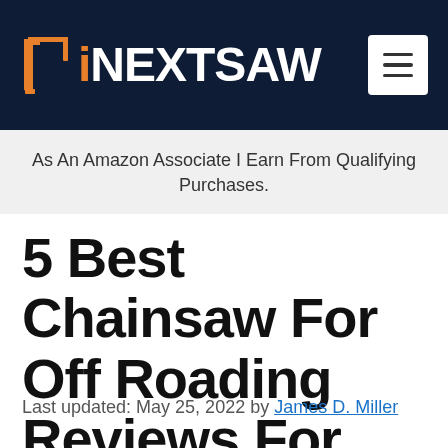[Figure (logo): NextSaw logo with orange saw icon and white text on dark navy background, plus hamburger menu button]
As An Amazon Associate I Earn From Qualifying Purchases.
5 Best Chainsaw For Off Roading Reviews For You
Last updated: May 25, 2022 by James D. Miller